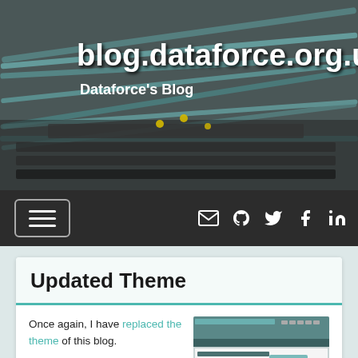blog.dataforce.org.uk
Dataforce's Blog
[Figure (screenshot): Blog header banner with network cables/switches in background, showing site title 'blog.dataforce.org.uk' and subtitle 'Dataforce's Blog']
[Figure (screenshot): Navigation bar with hamburger menu button on left and social icons (email, GitHub, Twitter, Facebook, LinkedIn) on right, dark background]
Updated Theme
Once again, I have replaced the theme of this blog.

Unlike the previous theme, this one is actually one I mostly ended up designing myself rather than just
[Figure (screenshot): Screenshot of the previous blog theme showing blog posts about Docker/Kubernetes improvements]